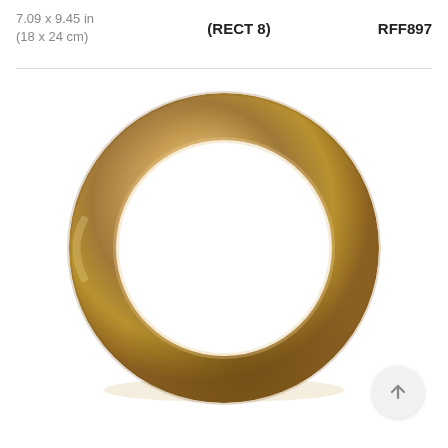7.09 x 9.45 in
(18 x 24 cm)
(RECT 8)
RFF897
[Figure (photo): A circular ring or frame with a brushed gold/bronze metallic finish, shown on a white background. The ring has a smooth rounded cross-section with subtle shading giving it a 3D appearance.]